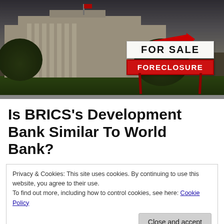[Figure (photo): White House building with a 'FOR SALE / FORECLOSURE' real estate sign overlaid in the bottom right, dark moody sky background]
Is BRICS's Development Bank Similar To World Bank?
Privacy & Cookies: This site uses cookies. By continuing to use this website, you agree to their use.
To find out more, including how to control cookies, see here: Cookie Policy
Close and accept
The main argument will be discussing all the BRICS is currently